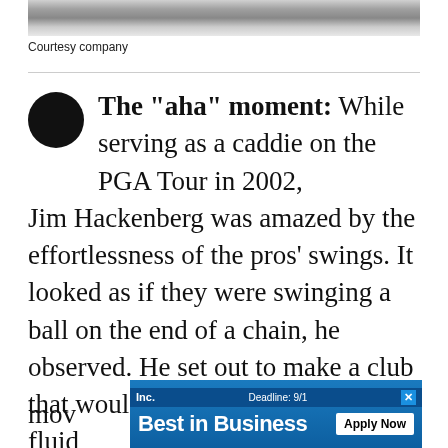[Figure (photo): Gray gradient banner image at top of page]
Courtesy company
The "aha" moment: While serving as a caddie on the PGA Tour in 2002, Jim Hackenberg was amazed by the effortlessness of the pros' swings. It looked as if they were swinging a ball on the end of a chain, he observed. He set out to make a club that would help amateurs mimic the fluid mov
[Figure (other): Inc. Best in Business advertisement banner with Apply Now button and Deadline 9/1]